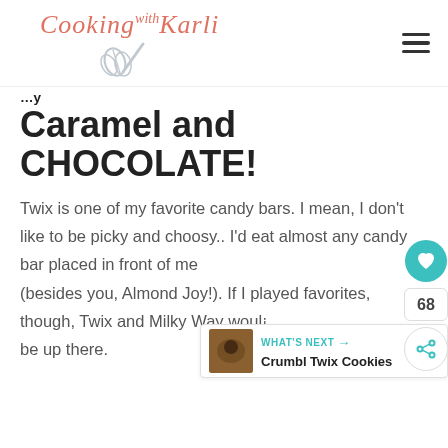Cooking with Karli
Caramel and CHOCOLATE!
Twix is one of my favorite candy bars. I mean, I don't like to be picky and choosy.. I'd eat almost any candy bar placed in front of me (besides you, Almond Joy!). If I played favorites, though, Twix and Milky Way would be up there.